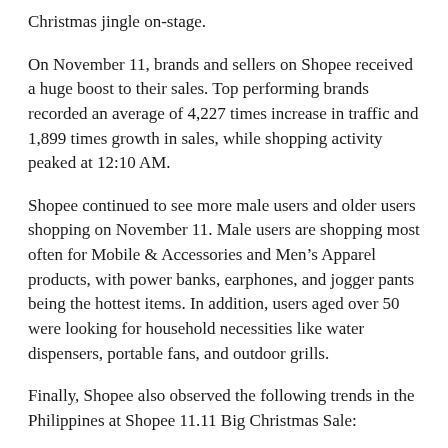Christmas jingle on-stage.
On November 11, brands and sellers on Shopee received a huge boost to their sales. Top performing brands recorded an average of 4,227 times increase in traffic and 1,899 times growth in sales, while shopping activity peaked at 12:10 AM.
Shopee continued to see more male users and older users shopping on November 11. Male users are shopping most often for Mobile & Accessories and Men's Apparel products, with power banks, earphones, and jogger pants being the hottest items. In addition, users aged over 50 were looking for household necessities like water dispensers, portable fans, and outdoor grills.
Finally, Shopee also observed the following trends in the Philippines at Shopee 11.11 Big Christmas Sale:
Most Popular Brands: Maybelline, Pampers, Unilever, Globe